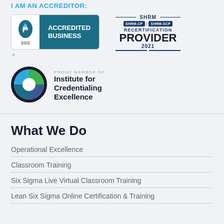I AM AN ACCREDITOR:
[Figure (logo): BBB Accredited Business badge with blue and teal design]
[Figure (logo): SHRM Recertification Provider 2021 badge with dark blue design, SHRM-CP and SHRM-SCP chips]
[Figure (logo): Institute for Credentialing Excellence logo with circular pie-chart style icon in teal, green, and blue]
What We Do
Operational Excellence
Classroom Training
Six Sigma Live Virtual Classroom Training
Lean Six Sigma Online Certification & Training